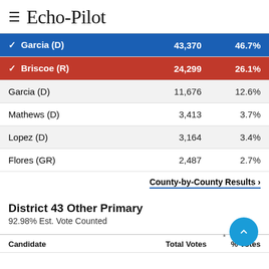≡ Echo-Pilot
| Candidate | Total Votes | % Votes |
| --- | --- | --- |
| ✓ Garcia (D) | 43,370 | 46.7% |
| ✓ Briscoe (R) | 24,299 | 26.1% |
| Garcia (D) | 11,676 | 12.6% |
| Mathews (D) | 3,413 | 3.7% |
| Lopez (D) | 3,164 | 3.4% |
| Flores (GR) | 2,487 | 2.7% |
County-by-County Results ›
District 43 Other Primary
92.98% Est. Vote Counted
| Candidate | Total Votes | % Votes |
| --- | --- | --- |